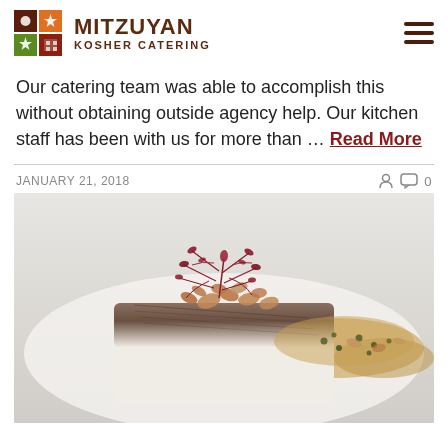MITZUYAN KOSHER CATERING
Our catering team was able to accomplish this without obtaining outside agency help. Our kitchen staff has been with us for more than … Read More
JANUARY 21, 2018   ♂ 0
[Figure (photo): A plated kosher fish dish — a square fillet with crispy skin, topped with small shellfish pieces and garnished with red micro greens/amaranth leaves, with a sauce on the side. Professional food photography on white background.]